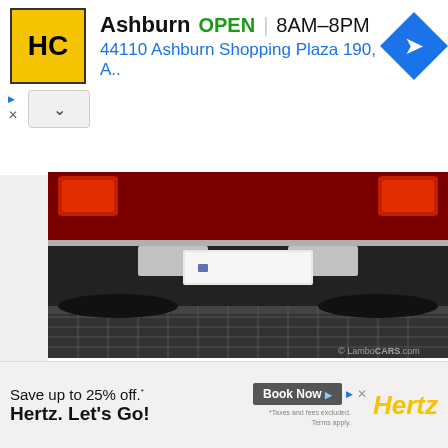[Figure (screenshot): Top advertisement banner showing HC logo, Ashburn OPEN 8AM-8PM, address 44110 Ashburn Shopping Plaza 190, A.. with navigation arrow, ad controls triangle and X, and chevron up button]
[Figure (photo): Close-up rear view of a red/dark sports car showing rear bumper, license plate area, and tail lights on cobblestone ground. Watermark: LamboCARs.com]
[Figure (photo): Outdoor car show scene with a bright green classic sports car (Lamborghini Urraco) at an auto show, with spectators and van Gansewinkel banner and Auto-Style signs in background]
[Figure (screenshot): Bottom Hertz advertisement: Save up to 25% off.* Hertz. Let's Go! Book Now button with Hertz logo. Footnote: *Taxes and fees excluded. Terms apply.]